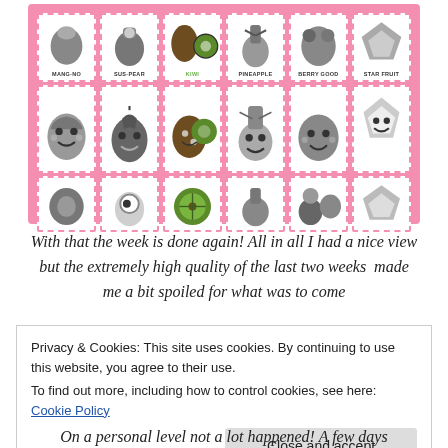[Figure (illustration): A pink-bordered grid of kawaii (cute) fruit illustrations showing 6 fruit types in 3 rows: top row shows small icon versions, middle row shows large cute cartoon faces, bottom row shows cross-section/variant views. Fruits labeled: MANG-NO, SUS-PEAR, KIWI (in green), PINEAPPLE, BERRY GOOD, STAR FRUIT]
With that the week is done again! All in all I had a nice view but the extremely high quality of the last two weeks  made me a bit spoiled for what was to come
Privacy & Cookies: This site uses cookies. By continuing to use this website, you agree to their use.
To find out more, including how to control cookies, see here: Cookie Policy
On a personal level not a lot happened! A few days